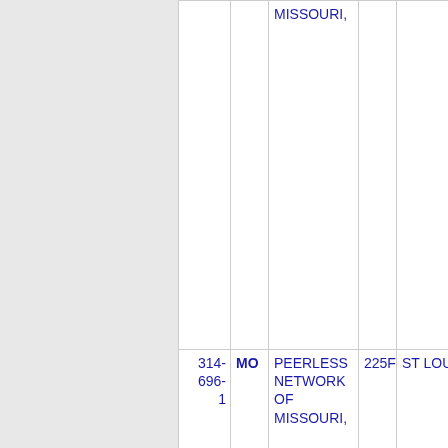| NPA-NXX | ST | COMPANY | RATE CENTER | CITY |
| --- | --- | --- | --- | --- |
|  |  | MISSOURI, |  |  |
| 314-696-1 | MO | PEERLESS NETWORK OF MISSOURI, | 225F | ST LOUIS |
| Thousands block for 314-748 |  |  |  |  |
| 314-748-0 | MO | PEERLESS NETWORK OF MISSOURI, | 225F | SAPPINGTON |